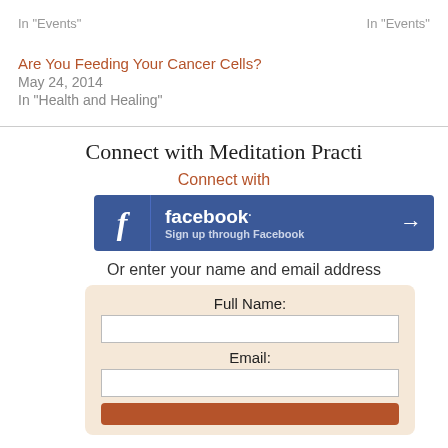In "Events"
In "Events"
Are You Feeding Your Cancer Cells?
May 24, 2014
In "Health and Healing"
Connect with Meditation Practi...
Connect with
[Figure (screenshot): Facebook sign up button with blue background, Facebook logo and text 'Sign up through Facebook' with arrow]
Or enter your name and email address
Full Name:
Email: